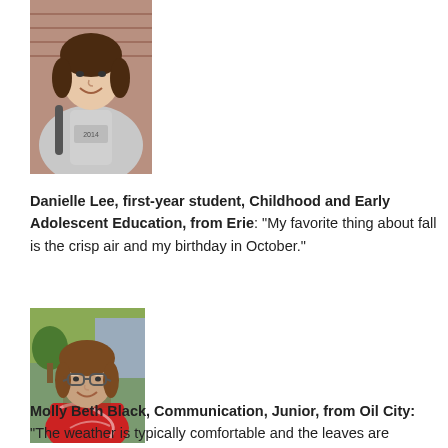[Figure (photo): Photo of Danielle Lee, a young woman smiling, wearing a grey hoodie with a backpack, standing in front of a brick wall.]
Danielle Lee, first-year student, Childhood and Early Adolescent Education, from Erie: “My favorite thing about fall is the crisp air and my birthday in October.”
[Figure (photo): Photo of Molly Beth Black, a young woman with brown hair and glasses, wearing a red patterned top, smiling outdoors with trees in the background.]
Molly Beth Black, Communication, Junior, from Oil City: “The weather is typically comfortable and the leaves are